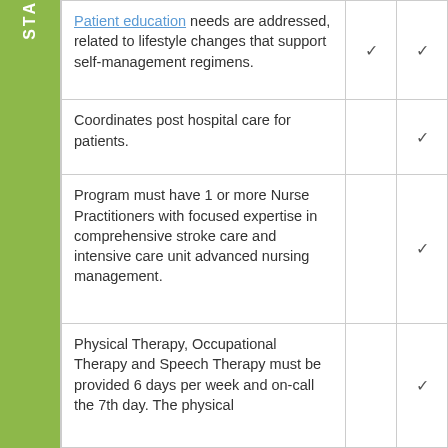| STA | Description | Col1 | Col2 |
| --- | --- | --- | --- |
| Patient education needs are addressed, related to lifestyle changes that support self-management regimens. | ✓ | ✓ |
| Coordinates post hospital care for patients. |  | ✓ |
| Program must have 1 or more Nurse Practitioners with focused expertise in comprehensive stroke care and intensive care unit advanced nursing management. |  | ✓ |
| Physical Therapy, Occupational Therapy and Speech Therapy must be provided 6 days per week and on-call the 7th day. The physical |  | ✓ |